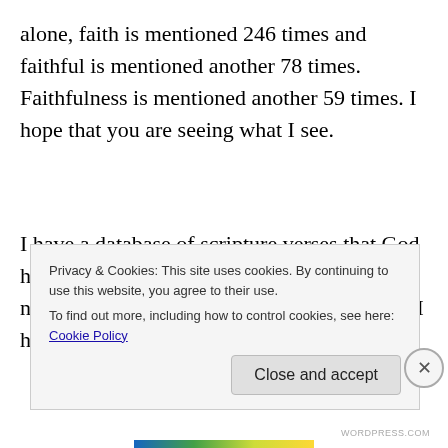alone, faith is mentioned 246 times and faithful is mentioned another 78 times. Faithfulness is mentioned another 59 times. I hope that you are seeing what I see.
I have a database of scripture verses that God has placed on my heart, and in my database, nearly twenty-five percent of the entries that I have reference faith, faithful or faithfulness.
Privacy & Cookies: This site uses cookies. By continuing to use this website, you agree to their use.
To find out more, including how to control cookies, see here: Cookie Policy